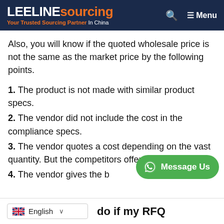LEELINE sourcing — Your Trusted Sourcing Partner In China
Also, you will know if the quoted wholesale price is not the same as the market price by the following points.
1. The product is not made with similar product specs.
2. The vendor did not include the cost in the compliance specs.
3. The vendor quotes a cost depending on the vast quantity. But the competitors offered less cost.
4. The vendor gives the b[truncated]
[Figure (screenshot): WhatsApp Message Us button (green pill-shaped button with WhatsApp icon)]
English [dropdown] | do if my RFQ